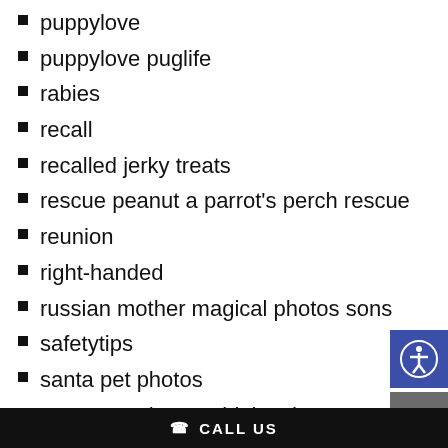puppylove
puppylove puglife
rabies
recall
recalled jerky treats
rescue peanut a parrot's perch rescue
reunion
right-handed
russian mother magical photos sons
safetytips
santa pet photos
santa pet photos tri-lakes humane society
sb 865
seniorpets #chronickidneydisease
CALL US